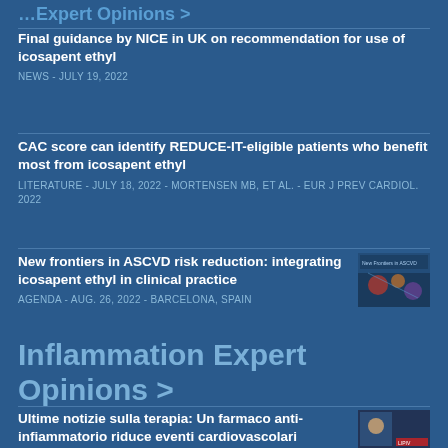…Expert Opinions >
Final guidance by NICE in UK on recommendation for use of icosapent ethyl
NEWS - JULY 19, 2022
CAC score can identify REDUCE-IT-eligible patients who benefit most from icosapent ethyl
LITERATURE - JULY 18, 2022 - MORTENSEN MB, ET AL. - EUR J PREV CARDIOL. 2022
New frontiers in ASCVD risk reduction: integrating icosapent ethyl in clinical practice
AGENDA - AUG. 26, 2022 - BARCELONA, SPAIN
[Figure (photo): Thumbnail image for ASCVD risk reduction article, showing molecules and cardiovascular imagery]
Inflammation Expert Opinions >
Ultime notizie sulla terapia: Un farmaco anti-infiammatorio riduce eventi cardiovascolari
[Figure (photo): Thumbnail image for inflammation expert opinion article, showing a news presenter]